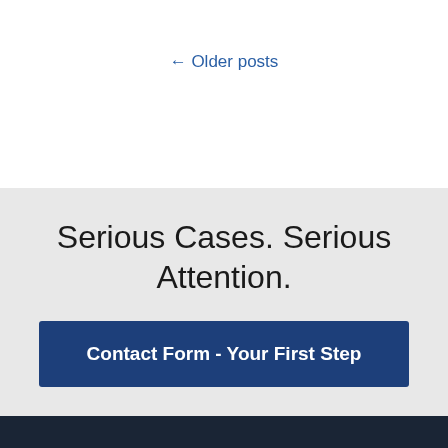← Older posts
Serious Cases. Serious Attention.
Contact Form - Your First Step